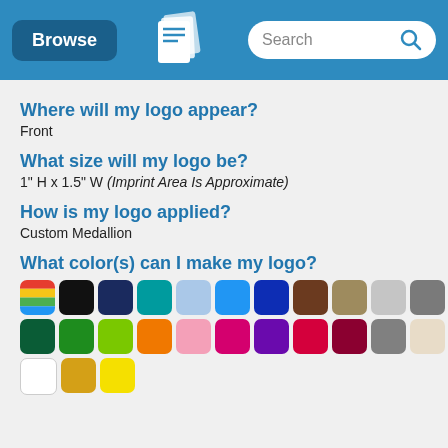Browse | [Logo] | Search
Where will my logo appear?
Front
What size will my logo be?
1" H x 1.5" W (Imprint Area Is Approximate)
How is my logo applied?
Custom Medallion
What color(s) can I make my logo?
[Figure (infographic): Color swatches: rainbow, black, navy, teal, light blue, blue, dark blue, brown, tan, light gray, dark gray; dark green, green, lime, orange, pink, magenta, purple, red, dark red, gray, beige; white, gold, yellow]